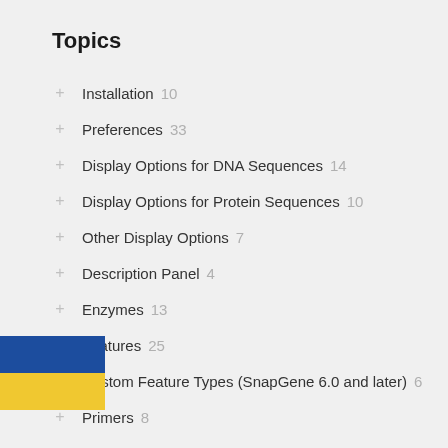Topics
Installation 10
Preferences 33
Display Options for DNA Sequences 14
Display Options for Protein Sequences 10
Other Display Options 7
Description Panel 4
Enzymes 13
Features 25
Custom Feature Types (SnapGene 6.0 and later) 6
Primers 8
Translations 6
Colors 4